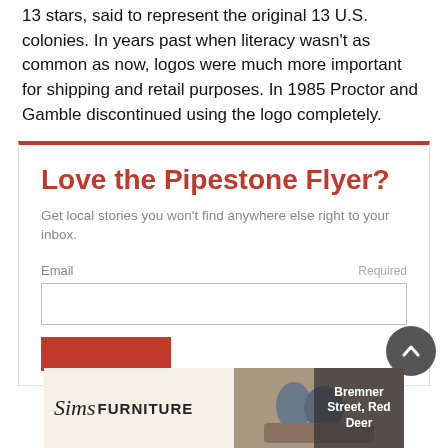13 stars, said to represent the original 13 U.S. colonies. In years past when literacy wasn't as common as now, logos were much more important for shipping and retail purposes. In 1985 Proctor and Gamble discontinued using the logo completely.
Love the Pipestone Flyer?
Get local stories you won't find anywhere else right to your inbox.
Email  Required
[Figure (infographic): Sims Furniture advertisement banner with logo, couple on couch, and address: Bremner Street, Red Deer]